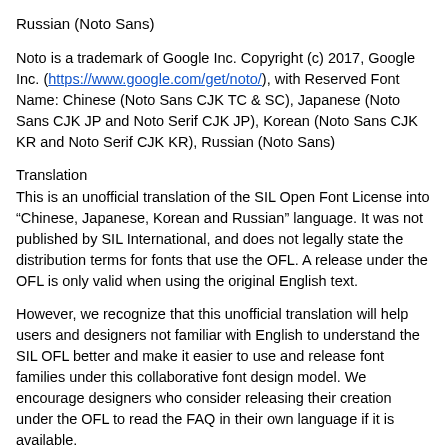Russian (Noto Sans)
Noto is a trademark of Google Inc. Copyright (c) 2017, Google Inc. (https://www.google.com/get/noto/), with Reserved Font Name: Chinese (Noto Sans CJK TC & SC), Japanese (Noto Sans CJK JP and Noto Serif CJK JP), Korean (Noto Sans CJK KR and Noto Serif CJK KR), Russian (Noto Sans)
Translation
This is an unofficial translation of the SIL Open Font License into “Chinese, Japanese, Korean and Russian” language. It was not published by SIL International, and does not legally state the distribution terms for fonts that use the OFL. A release under the OFL is only valid when using the original English text.
However, we recognize that this unofficial translation will help users and designers not familiar with English to understand the SIL OFL better and make it easier to use and release font families under this collaborative font design model. We encourage designers who consider releasing their creation under the OFL to read the FAQ in their own language if it is available.